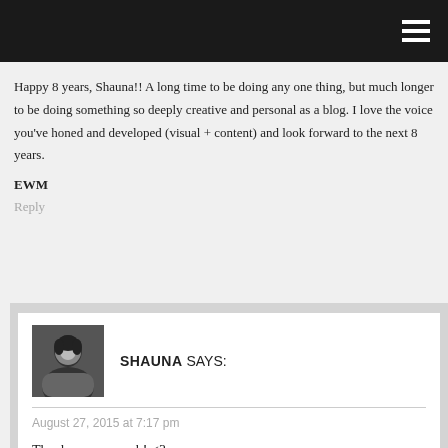Happy 8 years, Shauna!! A long time to be doing any one thing, but much longer to be doing something so deeply creative and personal as a blog. I love the voice you've honed and developed (visual + content) and look forward to the next 8 years.

EWM
Reply
SHAUNA SAYS:
August 27, 2015 at 7:17 pm
Thank you so much! <3
Reply